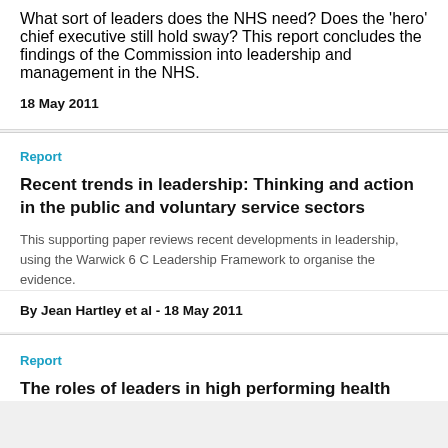What sort of leaders does the NHS need? Does the 'hero' chief executive still hold sway? This report concludes the findings of the Commission into leadership and management in the NHS.
18 May 2011
Report
Recent trends in leadership: Thinking and action in the public and voluntary service sectors
This supporting paper reviews recent developments in leadership, using the Warwick 6 C Leadership Framework to organise the evidence.
By Jean Hartley et al - 18 May 2011
Report
The roles of leaders in high performing health